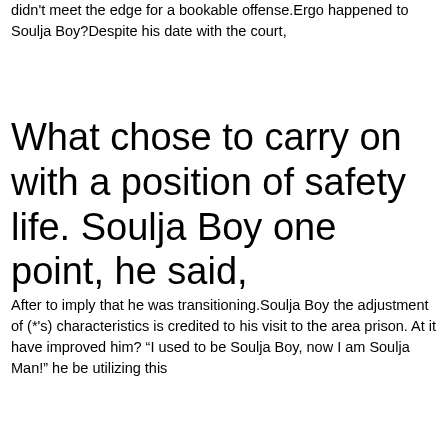didn't meet the edge for a bookable offense.Ergo happened to Soulja Boy?Despite his date with the court,
What chose to carry on with a position of safety life. Soulja Boy one point, he said,
After to imply that he was transitioning.Soulja Boy the adjustment of (*'s) characteristics is credited to his visit to the area prison. At it have improved him? “I used to be Soulja Boy, now I am Soulja Man!” he be utilizing this